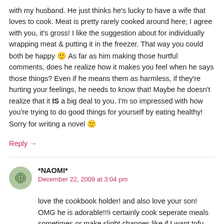with my husband. He just thinks he's lucky to have a wife that loves to cook. Meat is pretty rarely cooked around here; I agree with you, it's gross! I like the suggestion about for individually wrapping meat & putting it in the freezer. That way you could both be happy 🙂 As far as him making those hurtful comments, does he realize how it makes you feel when he says those things? Even if he means them as harmless, if they're hurting your feelings, he needs to know that! Maybe he doesn't realize that it IS a big deal to you. I'm so impressed with how you're trying to do good things for yourself by eating healthy! Sorry for writing a novel 🙂
Reply →
*NAOMI*
December 22, 2009 at 3:04 pm
love the cookbook holder! and also love your son! OMG he is adorable!!!i certainly cook seperate meals sometimes or make slight changes like if I want tofu add beans to chicken still make a nice tasty if...